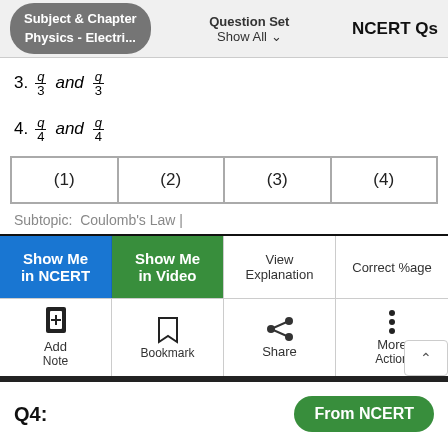Subject & Chapter Physics - Electri... | Question Set Show All | NCERT Qs
3. q/3 and q/3
4. q/4 and q/4
| (1) | (2) | (3) | (4) |
Subtopic:  Coulomb's Law |
Show Me in NCERT | Show Me in Video | View Explanation | Correct %age
Add Note | Bookmark | Share | More Action
Q4:
From NCERT